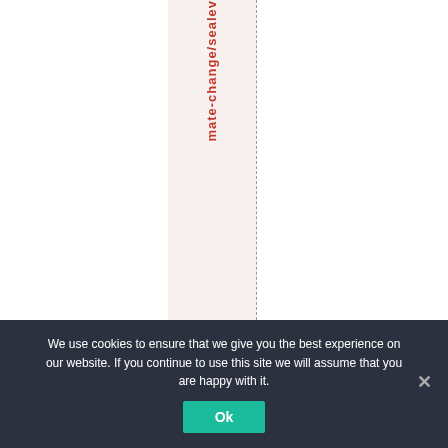mate-change/sealev
We use cookies to ensure that we give you the best experience on our website. If you continue to use this site we will assume that you are happy with it. Ok